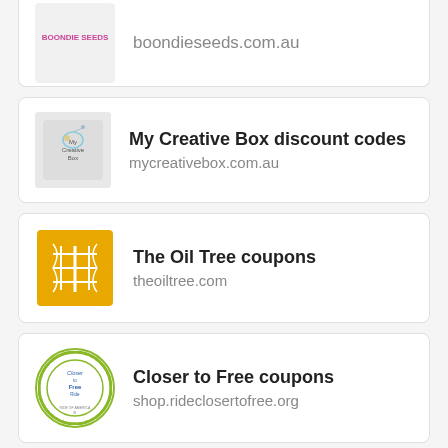boondieseeds.com.au
My Creative Box discount codes
mycreativebox.com.au
The Oil Tree coupons
theoiltree.com
Closer to Free coupons
shop.rideclosertofree.org
BrownSkinEssentials UK coupons